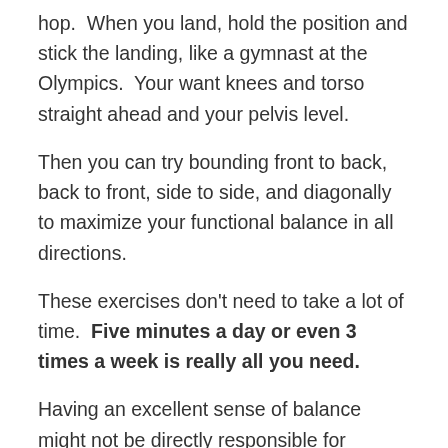hop.  When you land, hold the position and stick the landing, like a gymnast at the Olympics.  Your want knees and torso straight ahead and your pelvis level.
Then you can try bounding front to back, back to front, side to side, and diagonally to maximize your functional balance in all directions.
These exercises don't need to take a lot of time.  Five minutes a day or even 3 times a week is really all you need.
Having an excellent sense of balance might not be directly responsible for nabbing your